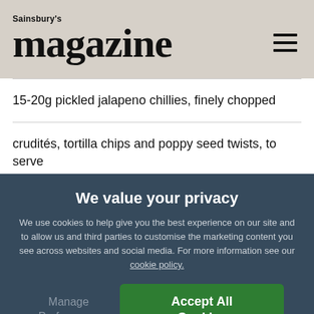Sainsbury's magazine
15-20g pickled jalapeno chillies, finely chopped
crudités, tortilla chips and poppy seed twists, to serve
We value your privacy
We use cookies to help give you the best experience on our site and to allow us and third parties to customise the marketing content you see across websites and social media. For more information see our cookie policy.
Manage Preferences
Accept All Cookies